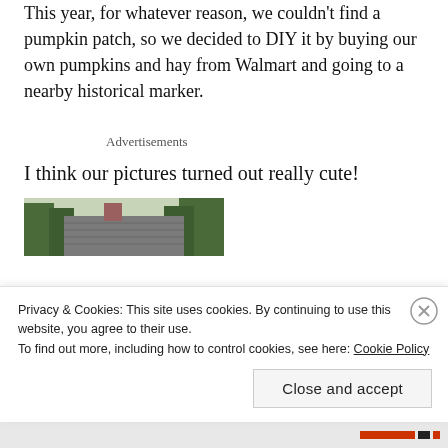This year, for whatever reason, we couldn't find a pumpkin patch, so we decided to DIY it by buying our own pumpkins and hay from Walmart and going to a nearby historical marker.
Advertisements
I think our pictures turned out really cute!
[Figure (photo): Partial photo showing rooftop of a building with trees in background]
Privacy & Cookies: This site uses cookies. By continuing to use this website, you agree to their use.
To find out more, including how to control cookies, see here: Cookie Policy